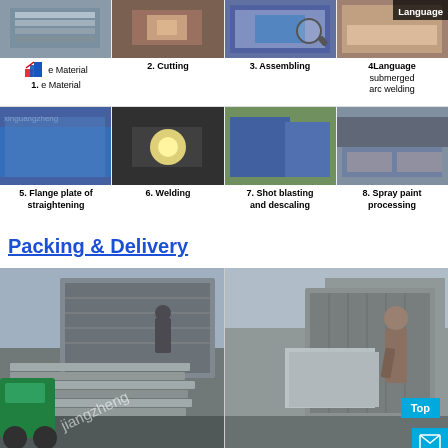[Figure (photo): Manufacturing process steps 1-4: raw material, cutting, assembling, submerged arc welding - top row of process photos with labels]
[Figure (photo): Manufacturing process steps 5-8: flange plate straightening, welding, shot blasting and descaling, spray paint processing - bottom row of process photos with labels]
Packing & Delivery
[Figure (photo): Two delivery photos side by side: left shows forklift loading steel sections into truck container, right shows worker loading galvanized steel panels into shipping container. Watermark 'jiangzheng' visible on left image. 'Top' button and mail icon overlay on right image.]